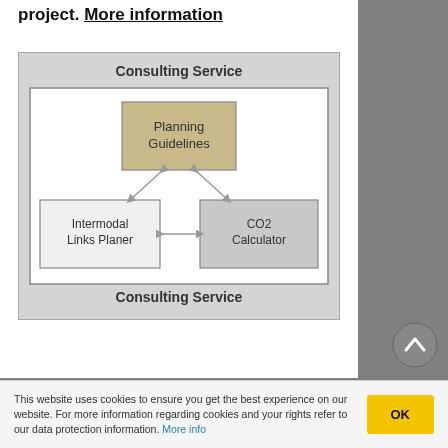project. More information
[Figure (flowchart): Consulting Service diagram showing three interconnected boxes: 'Planning Guidelines' at top center (tan/khaki background), 'Intermodal Links Planer' at bottom left (white background), and 'CO2 Calculator' at bottom right (gray background). Double-headed arrows connect all three boxes to each other, forming a triangle of relationships. The diagram is nested inside a white inner box, which is inside a larger light gray outer box. 'Consulting Service' labels appear above and below the inner diagram area.]
This website uses cookies to ensure you get the best experience on our website. For more information regarding cookies and your rights refer to our data protection information. More info